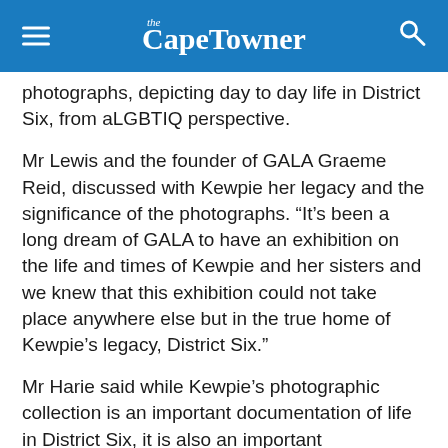The Cape Towner
photographs, depicting day to day life in District Six, from aLGBTIQ perspective.
Mr Lewis and the founder of GALA Graeme Reid, discussed with Kewpie her legacy and the significance of the photographs. “It’s been a long dream of GALA to have an exhibition on the life and times of Kewpie and her sisters and we knew that this exhibition could not take place anywhere else but in the true home of Kewpie’s legacy, District Six.”
Mr Harie said while Kewpie’s photographic collection is an important documentation of life in District Six, it is also an important documentation of queer history and the exhibition offers an opportunity to celebrate the heritage of the LGBTIQ community.